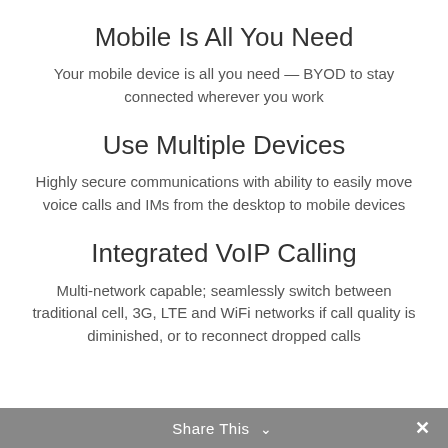Mobile Is All You Need
Your mobile device is all you need — BYOD to stay connected wherever you work
Use Multiple Devices
Highly secure communications with ability to easily move voice calls and IMs from the desktop to mobile devices
Integrated VoIP Calling
Multi-network capable; seamlessly switch between traditional cell, 3G, LTE and WiFi networks if call quality is diminished, or to reconnect dropped calls
Share This ∨  ✕